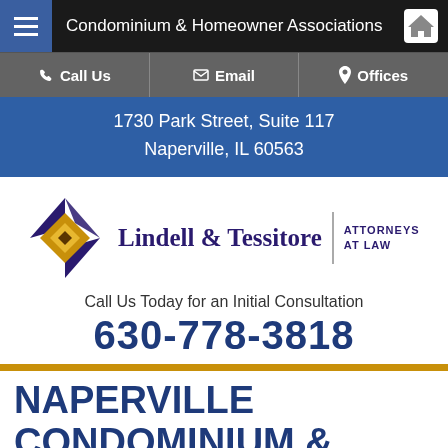Condominium & Homeowner Associations
Call Us | Email | Offices
1730 Park Street, Suite 117
Naperville, IL 60563
[Figure (logo): Lindell & Tessitore Attorneys At Law logo with geometric diamond shape in gold and navy blue]
Call Us Today for an Initial Consultation
630-778-3818
NAPERVILLE CONDOMINIUM & HOMEOWNER ASSOCIATION LAWYER